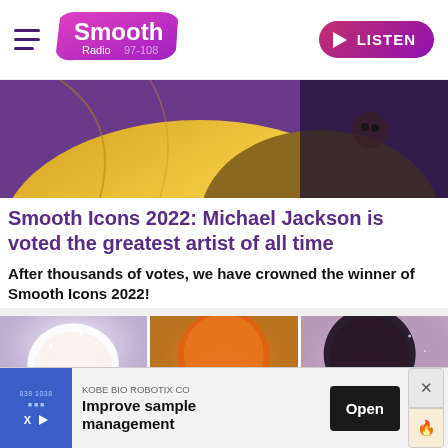Smooth Radio 97-108 | LISTEN
[Figure (photo): Hero image of Michael Jackson wearing gold jacket, partially cropped, against purple background]
Smooth Icons 2022: Michael Jackson is voted the greatest artist of all time
After thousands of votes, we have crowned the winner of Smooth Icons 2022!
[Figure (photo): Three thumbnail images side by side showing different music artists - a bright-haired female artist on left, a person with orange hair in the middle (wide-eyed), and a dark-haired female artist on right]
[Figure (photo): Advertisement banner: KOBE BIO ROBOTIX CO - Improve sample management - Open button]